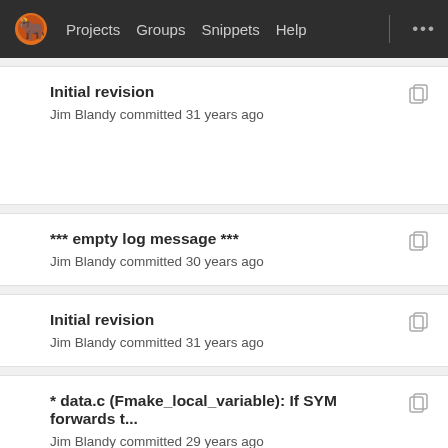Projects  Groups  Snippets  Help
Initial revision
Jim Blandy committed 31 years ago
*** empty log message ***
Jim Blandy committed 30 years ago
Initial revision
Jim Blandy committed 31 years ago
* data.c (Fmake_local_variable): If SYM forwards t...
Jim Blandy committed 29 years ago